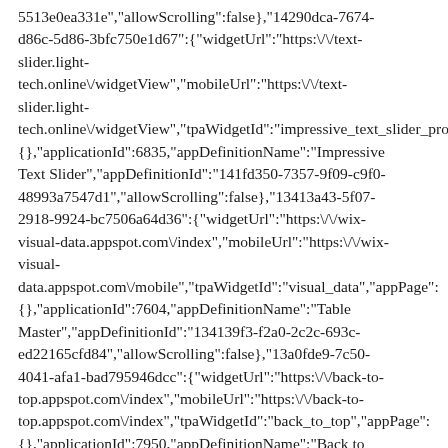5513e0ea331e","allowScrolling":false},{"14290dca-7674-d86c-5d86-3bfc750e1d67":{"widgetUrl":"https:\/\/text-slider.light-tech.online\/widgetView","mobileUrl":"https:\/\/text-slider.light-tech.online\/widgetView","tpaWidgetId":"impressive_text_slider_pro",{},"applicationId":6835,"appDefinitionName":"Impressive Text Slider","appDefinitionId":"141fd350-7357-9f09-c9f0-48993a7547d1","allowScrolling":false},{"13413a43-5f07-2918-9924-bc7506a64d36":{"widgetUrl":"https:\/\/wix-visual-data.appspot.com\/index","mobileUrl":"https:\/\/wix-visual-data.appspot.com\/mobile","tpaWidgetId":"visual_data","appPage":{},"applicationId":7604,"appDefinitionName":"Table Master","appDefinitionId":"134139f3-f2a0-2c2c-693c-ed22165cfd84","allowScrolling":false},{"13a0fde9-7c50-4041-afa1-bad795946dcc":{"widgetUrl":"https:\/\/back-to-top.appspot.com\/index","mobileUrl":"https:\/\/back-to-top.appspot.com\/index","tpaWidgetId":"back_to_top","appPage":{},"applicationId":7950,"appDefinitionName":"Back to Top","appDefinitionId":"13a0fdb7-8f49-2cb3-c634-c9158ba38c0d","allowScrolling":false},{"14d2abc2-5350-6322-487d-8c16ff833c8a":{"widgetUrl":"https:\/\/editor.wixapps.net\/render\/prod\/editor\/events-viewer\/1.907.0\/details-page","mobileUrl":"https:\/\/editor.wixapps.net\/render\/prod\/editor\/events-viewer\/1.907.0\/details-page","appPage":{"id":"events","name":"Event